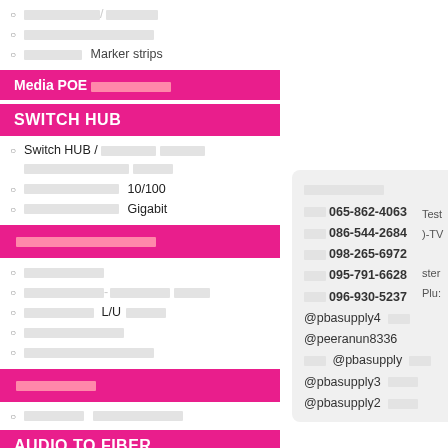ภาษาไทย/ภาษาไทย
ภาษาไทยภาษาไทยภาษาไทย
ภาษาไทย Marker strips
Media POE ภาษาไทยภาษา
SWITCH HUB
Switch HUB / ภาษาไทย ภาษาไทย ภาษาไทยภาษาไทย ภาษาไทย
ภาษาไทยภาษาไทย 10/100
ภาษาไทยภาษาไทย Gigabit
ภาษาไทยภาษาไทยภาษาไทย
ภาษาไทยภาษาไทย
ภาษาไทยภาษาไทย-ภาษาไทย ภาษาไทย
ภาษาไทยภาษาไทย L/U ภาษาไทย
ภาษาไทยภาษาไทยภาษาไทย
ภาษาไทยภาษาไทยภาษาไทยภาษาไทย
ภาษาไทยภาษาไทย
ภาษาไทยภาษา ภาษาไทยภาษาไทยภาษาไทย
AUDIO TO FIBER
ภาษาไทยภาษาไทย
โทร 065-862-4063
โทร 086-544-2684
โทร 098-265-6972
โทร 095-791-6628
โทร 096-930-5237
@pbasupply4 ภาษา
@peeranun8336
ไลน์ @pbasupply ภาษา
@pbasupply3 ภาษาภา
@pbasupply2 ภาษาภา